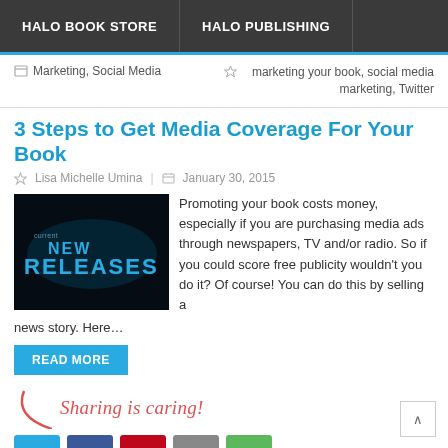HALO BOOK STORE | HALO PUBLISHING
Marketing, Social Media | marketing your book, social media marketing, Twitter
3 Steps to Get Media Coverage For Your Book
Lisa Michelle Umina | January 30, 2015
[Figure (photo): Dark background image with glowing blue text reading 'NEW RELEASES']
Promoting your book costs money, especially if you are purchasing media ads through newspapers, TV and/or radio. So if you could score free publicity wouldn't you do it? Of course! You can do this by selling a news story. Here…
READ MORE
Sharing is caring!